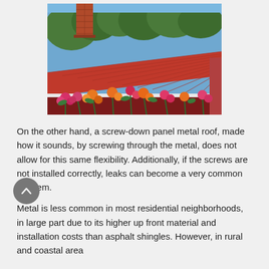[Figure (photo): Photo of a red metal roof with a brick chimney visible, surrounded by green trees above, and colorful flowers (pink, orange, red) in front of a dark red barn wall below.]
On the other hand, a screw-down panel metal roof, made how it sounds, by screwing through the metal, does not allow for this same flexibility. Additionally, if the screws are not installed correctly, leaks can become a very common problem.
Metal is less common in most residential neighborhoods, in large part due to its higher up front material and installation costs than asphalt shingles. However, in rural and coastal areas...